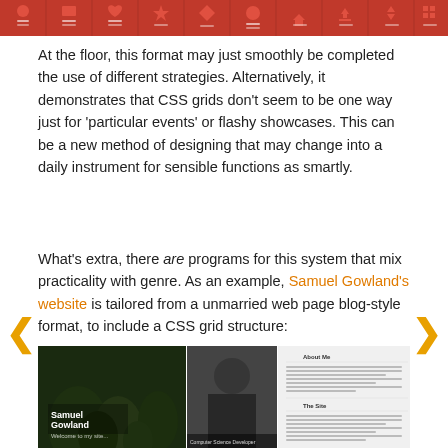[Figure (screenshot): Navigation bar with red background showing multiple icon/label items in a row]
At the floor, this format may just smoothly be completed the use of different strategies. Alternatively, it demonstrates that CSS grids don’t seem to be one way just for ‘particular events’ or flashy showcases. This can be a new method of designing that may change into a daily instrument for sensible functions as smartly.
What’s extra, there are programs for this system that mix practicality with genre. As an example, Samuel Gowland’s website is tailored from a unmarried web page blog-style format, to include a CSS grid structure:
[Figure (screenshot): Screenshot of Samuel Gowland's website showing a dark forest hero image on the left with name text, a portrait photo in the middle, and an About Me text panel on the right]